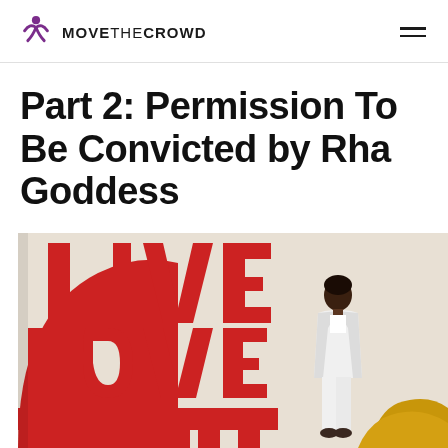MOVE THE CROWD
Part 2: Permission To Be Convicted by Rha Goddess
[Figure (photo): A woman in a white pantsuit standing next to large red 3D letters spelling LIVE LOVE (and partially visible MATTER or similar), with a gold element at the bottom right corner.]